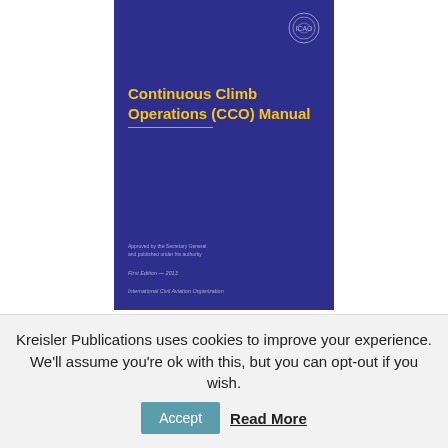[Figure (illustration): Book cover of the ICAO 'Continuous Climb Operations (CCO) Manual'. Dark blue/indigo background with yellow bold title text, ICAO logo top-right, title underline, and small print text for approval, edition, and organization at bottom.]
Kreisler Publications uses cookies to improve your experience. We'll assume you're ok with this, but you can opt-out if you wish. Accept  Read More